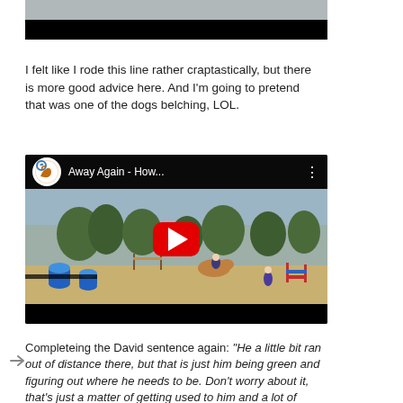[Figure (photo): Top partial image of a horse jumping course with poles/rails visible, black bar at bottom.]
I felt like I rode this line rather craptastically, but there is more good advice here.  And I'm going to pretend that was one of the dogs belching, LOL.
[Figure (screenshot): YouTube video thumbnail showing a horse and rider cantering around a jumping course with blue barrels visible. Video title reads 'Away Again - How...' with a YouTube channel logo (horse silhouette). Large red play button in center.]
Completeing the David sentence again:  "He a little bit ran out of distance there, but that is just him being green and figuring out where he needs to be.  Don't worry about it, that's just a matter of getting used to him and a lot of things."